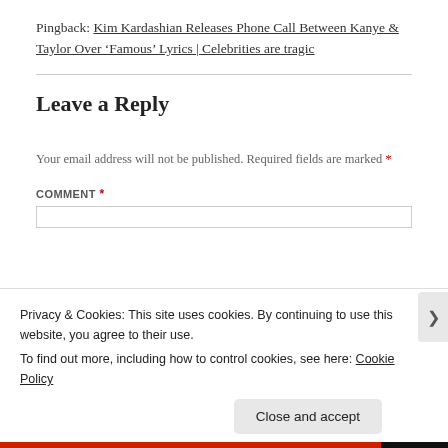Pingback: Kim Kardashian Releases Phone Call Between Kanye & Taylor Over ‘Famous’ Lyrics | Celebrities are tragic
Leave a Reply
Your email address will not be published. Required fields are marked *
COMMENT *
Privacy & Cookies: This site uses cookies. By continuing to use this website, you agree to their use.
To find out more, including how to control cookies, see here: Cookie Policy
Close and accept